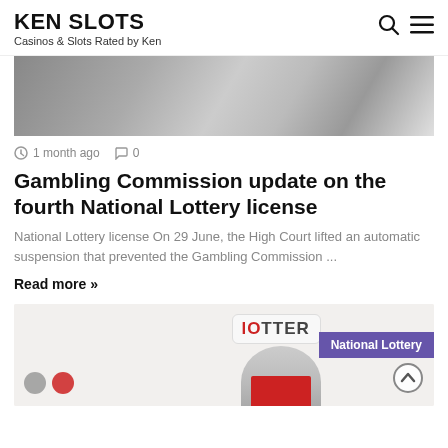KEN SLOTS
Casinos & Slots Rated by Ken
[Figure (photo): Grayscale hero image, partially visible, dark interior scene]
1 month ago   0
Gambling Commission update on the fourth National Lottery license
National Lottery license On 29 June, the High Court lifted an automatic suspension that prevented the Gambling Commission ...
Read more »
[Figure (photo): Partial image showing a person holding a lotter/lottery branded item, with National Lottery tag overlay]